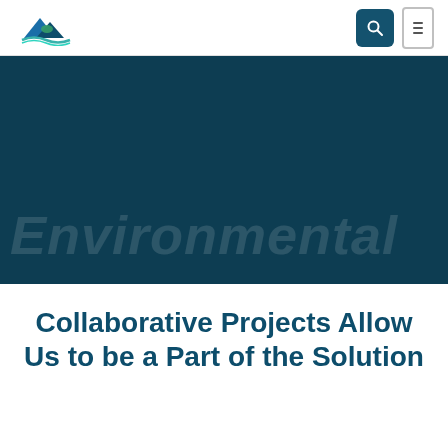Northern Water
[Figure (screenshot): Northern Water website screenshot showing header with logo, search button, menu button, dark teal hero banner with 'Environmental' watermark text]
Collaborative Projects Allow Us to be a Part of the Solution